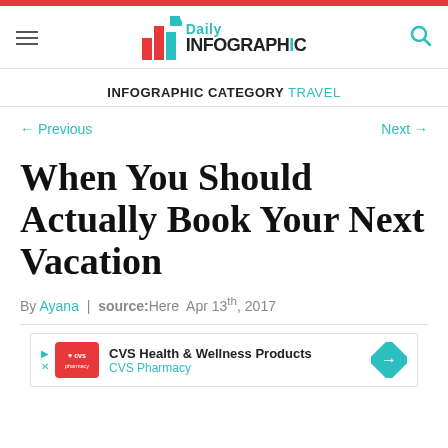Daily Infographic
INFOGRAPHIC CATEGORY TRAVEL
← Previous    Next →
When You Should Actually Book Your Next Vacation
By Ayana | source:Here Apr 13th, 2017
[Figure (infographic): CVS Health & Wellness Products advertisement banner with CVS Pharmacy logo and blue direction arrow]